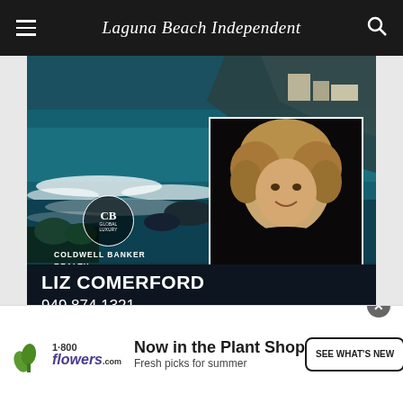Laguna Beach Independent
[Figure (photo): Real estate advertisement for Liz Comerford, Coldwell Banker Realty. Features aerial coastal/beach photo of Laguna Beach, headshot photo of Liz Comerford, name, phone number 949.874.1321, tagline '24 Years Representing Clients Along the Coast', Coldwell Banker Realty branding, DRE# 01188116]
[Figure (photo): Partial view of a second advertisement - appears to show a coastal property or luxury real estate ad with a lion logo emblem]
[Figure (advertisement): 1-800-flowers.com advertisement: 'Now in the Plant Shop - Fresh picks for summer' with SEE WHAT'S NEW call-to-action button, monstera plant image]